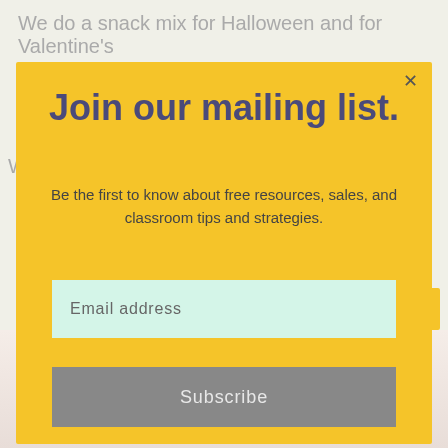We do a snack mix for Halloween and for Valentine's
[Figure (screenshot): Newsletter/mailing list signup modal overlay with yellow background, containing title 'Join our mailing list.', subtitle text, email input field, and subscribe button]
Join our mailing list.
Be the first to know about free resources, sales, and classroom tips and strategies.
Email address
Subscribe
[Figure (photo): Bottom portion showing Valentine's themed products including SWEETHEART SPRITZ text bar and 'y Berry' partial text visible on packaging]